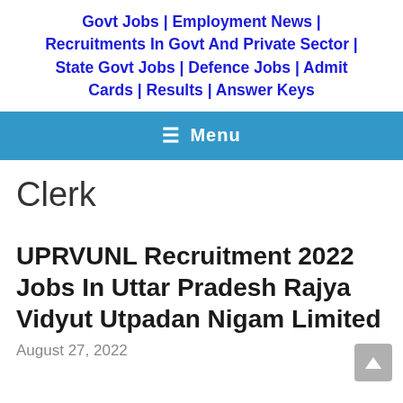Govt Jobs | Employment News | Recruitments In Govt And Private Sector | State Govt Jobs | Defence Jobs | Admit Cards | Results | Answer Keys
☰  Menu
Clerk
UPRVUNL Recruitment 2022 Jobs In Uttar Pradesh Rajya Vidyut Utpadan Nigam Limited
August 27, 2022